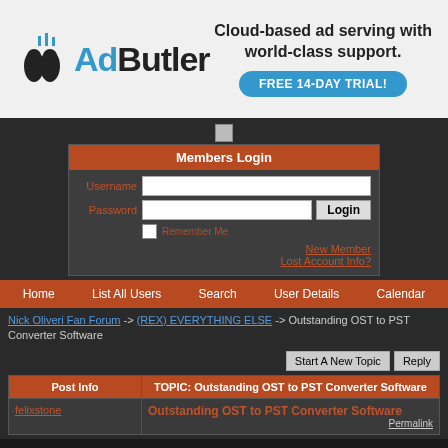[Figure (logo): AdButler advertisement banner with logo and FREE 14-DAY TRIAL button]
[Figure (illustration): Small broken image placeholder/logo]
| Members Login |
| --- |
| Username | [input] |
| Password | [input] | Login |
| [checkbox] Remember Me |
| New Member | Lost Account Info? |
Home   List All Users   Search   User Details   Calendar
Nick Oliveri Fan Forum -> (REX) EVERYTHING ELSE -> Outstanding OST to PST Converter Software
Start A New Topic   Reply
| Post Info | TOPIC: Outstanding OST to PST Converter Software |
| --- | --- |
| felixstone | Outstanding OST to PST Converter Software  Permalink |